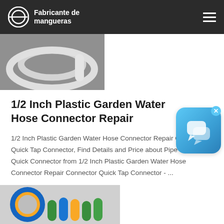Fabricante de mangueras
[Figure (photo): Coiled white plastic garden hose on gray background]
1/2 Inch Plastic Garden Water Hose Connector Repair
1/2 Inch Plastic Garden Water Hose Connector Repair Connector Quick Tap Connector, Find Details and Price about Pipe Connector, Quick Connector from 1/2 Inch Plastic Garden Water Hose Connector Repair Connector Quick Tap Connector - ...
[Figure (photo): Colorful hose connectors and tape roll at bottom of page]